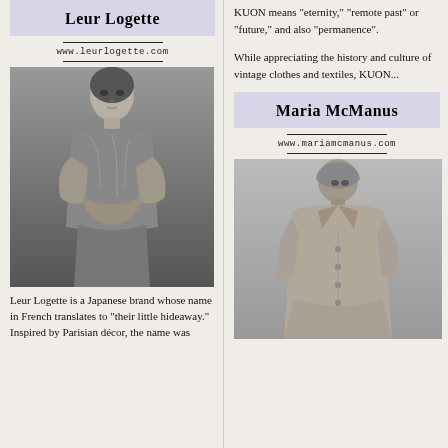Leur Logette
www.leurlogette.com
[Figure (photo): Black and white photo of a model wearing a sleeveless textured vest, arms crossed]
Leur Logette is a Japanese brand whose name in French translates to "their little hideaway." Inspired by Parisian décor, the name was
KUON means "eternity," "remote past" or "future," and also "permanence".
While appreciating the history and culture of vintage clothes and textiles, KUON...
Maria McManus
www.mariamcmanus.com
[Figure (photo): Black and white photo of a model wearing a long trench coat]